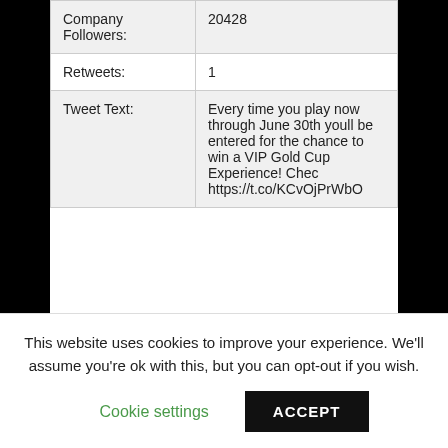| Company Followers: | 20428 |
| Retweets: | 1 |
| Tweet Text: | Every time you play now through June 30th youll be entered for the chance to win a VIP Gold Cup Experience! Chec https://t.co/KCvOjPrWbO |
Barahonda Bodega
This website uses cookies to improve your experience. We'll assume you're ok with this, but you can opt-out if you wish.
Cookie settings
ACCEPT